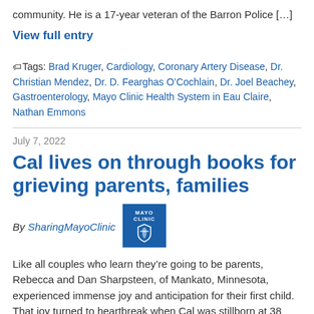community. He is a 17-year veteran of the Barron Police [...]
View full entry
Tags: Brad Kruger, Cardiology, Coronary Artery Disease, Dr. Christian Mendez, Dr. D. Fearghas O'Cochlain, Dr. Joel Beachey, Gastroenterology, Mayo Clinic Health System in Eau Claire, Nathan Emmons
July 7, 2022
Cal lives on through books for grieving parents, families
By SharingMayoClinic
[Figure (logo): Mayo Clinic logo - blue square with white shield and clinic wordmark]
Like all couples who learn they're going to be parents, Rebecca and Dan Sharpsteen, of Mankato, Minnesota, experienced immense joy and anticipation for their first child. That joy turned to heartbreak when Cal was stillborn at 38 weeks at Mayo Clinic Health System in Mankato. "As a mother-to-be, you have so many hopes and dreams you [...]